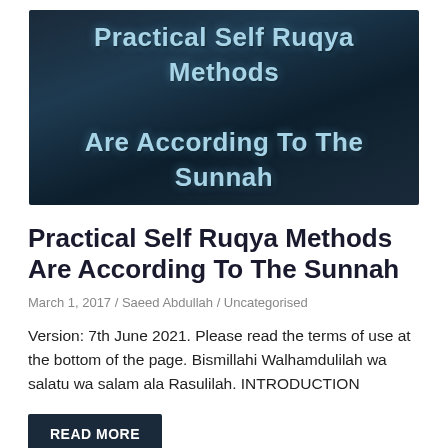[Figure (illustration): Dark blue/teal gradient background image with centered text reading 'Practical Self Ruqya Methods Are According To The Sunnah' in light blue bold font]
Practical Self Ruqya Methods Are According To The Sunnah
March 1, 2017 / Saeed Abdullah / Uncategorised
Version: 7th June 2021. Please read the terms of use at the bottom of the page. Bismillahi Walhamdulilah wa salatu wa salam ala Rasulilah. INTRODUCTION
READ MORE